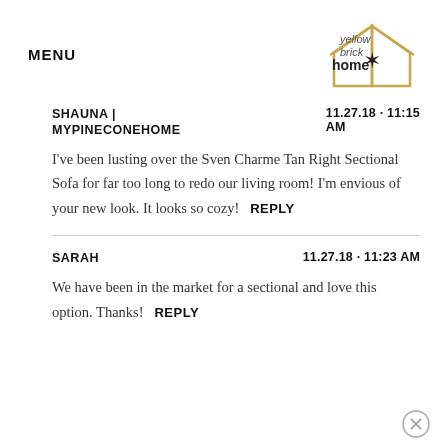MENU | yellow brick home
SHAUNA | MYPINECONEHOME   11.27.18 · 11:15 AM
I've been lusting over the Sven Charme Tan Right Sectional Sofa for far too long to redo our living room! I'm envious of your new look. It looks so cozy!   REPLY
SARAH   11.27.18 · 11:23 AM
We have been in the market for a sectional and love this option. Thanks!   REPLY